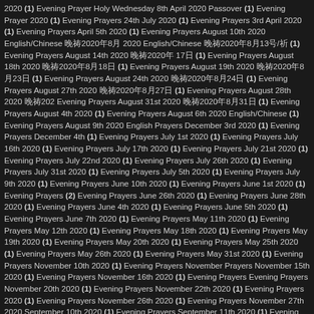2020 (1) Evening Prayer Holy Wednesday 8th April 2020 Passover (1) Evening Prayer 2020 (1) Evening Prayers 24th July 2020 (1) Evening Prayers 3rd April 2020 (1) Evening Prayers April 5th 2020 (1) Evening Prayers August 10th 2020 English/Chinese 晚祷2020年8月 2020 English/Chinese 晚祷2020年8月13号/祈 (1) Evening Prayers August 14th 2020 晚祷2020年 17日 (1) Evening Prayers August 18th 2020 晚祷2020年8月18日 (1) Evening Prayers August 19th 2020 晚祷2020年8月23日 (1) Evening Prayers August 24th 2020 晚祷2020年8月24日 (1) Evening Prayers August 27th 2020 晚祷2020年8月27日 (1) Evening Prayers August 28th 2020 晚祷202 Evening Prayers August 31st 2020 晚祷2020年8月31日 (1) Evening Prayers August 4th 2020 (1) Evening Prayers August 6th 2020 English/Chinese (1) Evening Prayers August 9th 2020 English Prayers December 3rd 2020 (1) Evening Prayers December 4th (1) Evening Prayers July 1st 2020 (1) Evening Prayers July 16th 2020 (1) Evening Prayers July 17th 2020 (1) Evening Prayers July 21st 2020 (1) Evening Prayers July 22nd 2020 (1) Evening Prayers July 26th 2020 (1) Evening Prayers July 31st 2020 (1) Evening Prayers July 5th 2020 (1) Evening Prayers July 9th 2020 (1) Evening Prayers June 10th 2020 (1) Evening Prayers June 1st 2020 (1) Evening Prayers (2) Evening Prayers June 26th 2020 (1) Evening Prayers June 28th 2020 (1) Evening Prayers June 4th 2020 (1) Evening Prayers June 5th 2020 (1) Evening Prayers June 7th 2020 (1) Evening Prayers May 11th 2020 (1) Evening Prayers May 12th 2020 (1) Evening Prayers May 18th 2020 (1) Evening Prayers May 19th 2020 (1) Evening Prayers May 20th 2020 (1) Evening Prayers May 25th 2020 (1) Evening Prayers May 26th 2020 (1) Evening Prayers May 31st 2020 (1) Evening Prayers November 10th 2020 (1) Evening Prayers November Prayers November 15th 2020 (1) Evening Prayers November 16th 2020 (1) Evening Prayers Evening Prayers November 20th 2020 (1) Evening Prayers November 22th 2020 (1) Evening Prayers 2020 (1) Evening Prayers November 26th 2020 (1) Evening Prayers November 27th 2020 September 10th 2020 (1) Evening Prayers September 11th 2020 (1) Evening Prayers September 9月1日 (1) Evening Prayers September 6th 2020 (1) Evening Prayers September 7th 2020